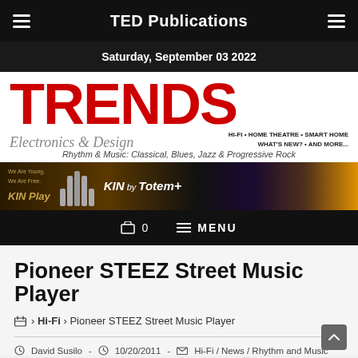TED Publications
Saturday, September 03 2022
[Figure (logo): TRENDS Electronics & Design magazine logo with tagline: HI-FI • HOME THEATRE • SMART HOME WHAT'S NEW? • AND MORE... Rhythm & Music: Classical, Blues, Jazz & Progressive Rock]
[Figure (infographic): KIN by Totem advertisement banner showing speakers and stylized character]
0   MENU
Pioneer STEEZ Street Music Player
Home > Hi-Fi > Pioneer STEEZ Street Music Player
David Susilo - 10/20/2011 - Hi-Fi / News / Rhythm and Music